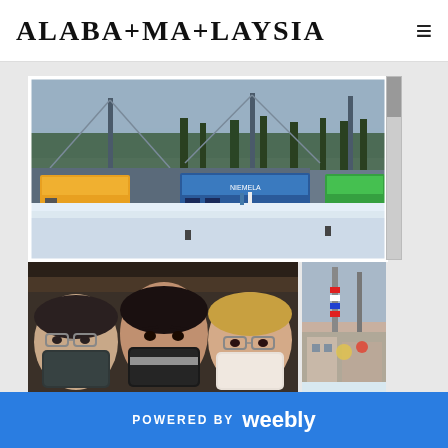ALABA+MA+LAYSIA
[Figure (photo): Snowy bus terminal/parking area in winter with multiple coaches parked, trees and a cable structure in background, overcast sky, snow on ground]
[Figure (photo): Three people wearing face masks sitting in a car, selfie-style photo]
[Figure (photo): Partial view of colorful decorations or structures, outdoor winter scene]
POWERED BY weebly